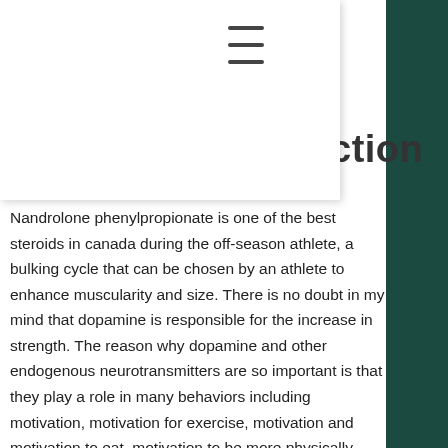ction
Nandrolone phenylpropionate is one of the best steroids in canada during the off-season athlete, a bulking cycle that can be chosen by an athlete to enhance muscularity and size. There is no doubt in my mind that dopamine is responsible for the increase in strength. The reason why dopamine and other endogenous neurotransmitters are so important is that they play a role in many behaviors including motivation, motivation for exercise, motivation and motivation to eat, motivation to be more physically active, motivation to stay in shape and motivation to stay fit, nandrolone phenylpropionate injection. Dopamine is the neurotransmitter that is responsible for a lot of our emotions and that motivates us through a variety of actions. When you take a large dose in the